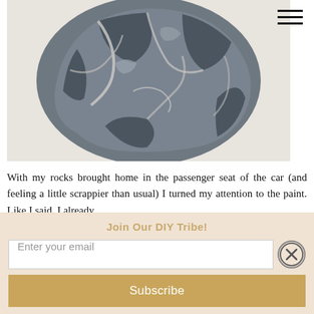[Figure (photo): A rough gray granite/marble rock sitting on a light beige/white background, photographed from above at slight angle. The rock has white veining through dark gray stone.]
With my rocks brought home in the passenger seat of the car (and feeling a little scrappier than usual) I turned my attention to the paint. Like I said, I already
Join Our DIY Tribe!
Enter your email
Subscribe